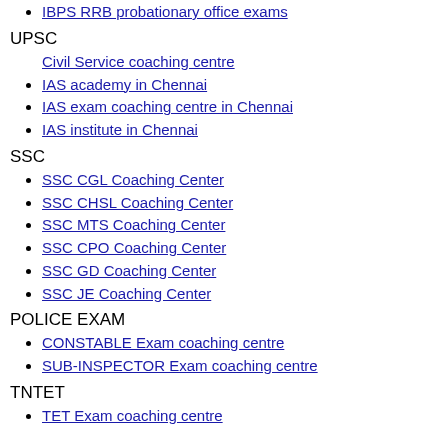IBPS RRB probationary office exams
UPSC
Civil Service coaching centre
IAS academy in Chennai
IAS exam coaching centre in Chennai
IAS institute in Chennai
SSC
SSC CGL Coaching Center
SSC CHSL Coaching Center
SSC MTS Coaching Center
SSC CPO Coaching Center
SSC GD Coaching Center
SSC JE Coaching Center
POLICE EXAM
CONSTABLE Exam coaching centre
SUB-INSPECTOR Exam coaching centre
TNTET
TET Exam coaching centre